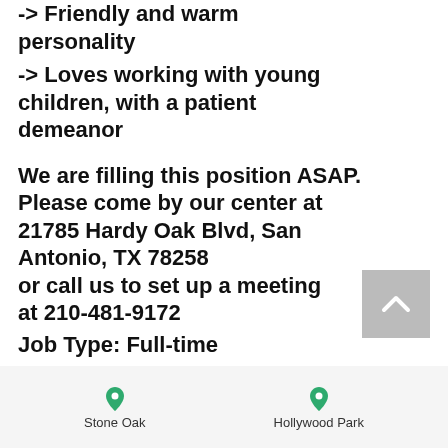-> Friendly and warm personality
-> Loves working with young children, with a patient demeanor
We are filling this position ASAP. Please come by our center at 21785 Hardy Oak Blvd, San Antonio, TX 78258 or call us to set up a meeting at 210-481-9172
Job Type: Full-time
Pay: $10.00 per hour
Stone Oak  Hollywood Park